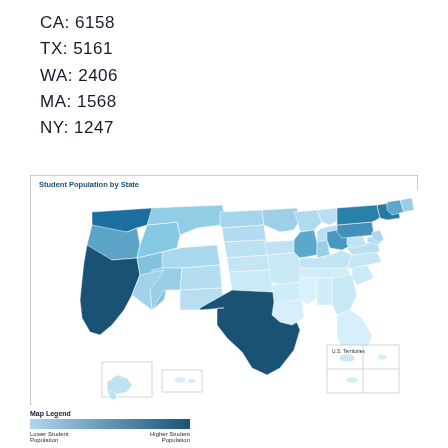CA:  6158
TX:  5161
WA:  2406
MA:  1568
NY:  1247
[Figure (map): Choropleth map of the United States showing Student Population by State. States are shaded in varying intensities of blue — darker blue indicates higher student population. California, Texas, and Washington are among the darkest. A small inset shows U.S. Territories. Alaska and Hawaii are shown as insets at bottom left.]
Map Legend — Lower Student Population (light blue) to Higher Student Population (dark blue)